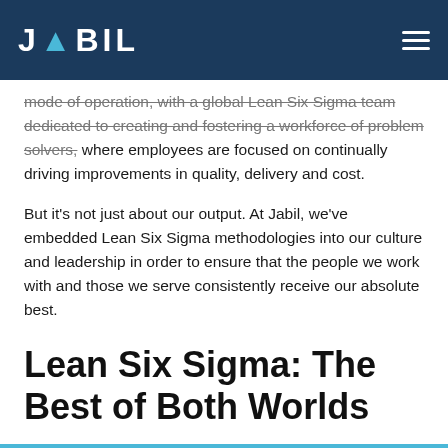JABIL
mode of operation, with a global Lean Six Sigma team dedicated to creating and fostering a workforce of problem solvers, where employees are focused on continually driving improvements in quality, delivery and cost.
But it's not just about our output. At Jabil, we've embedded Lean Six Sigma methodologies into our culture and leadership in order to ensure that the people we work with and those we serve consistently receive our absolute best.
Lean Six Sigma: The Best of Both Worlds